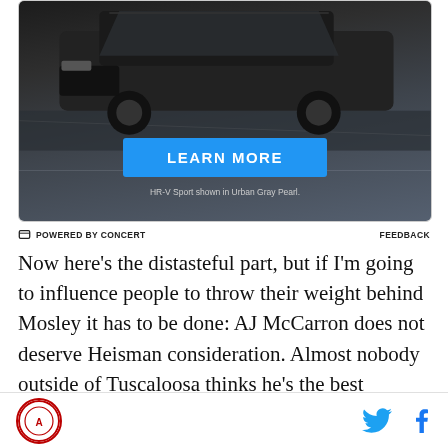[Figure (photo): Honda HR-V Sport advertisement showing the front of a dark SUV on a dark road with a blue 'LEARN MORE' button and caption 'HR-V Sport shown in Urban Gray Pearl.']
POWERED BY CONCERT   FEEDBACK
Now here's the distasteful part, but if I'm going to influence people to throw their weight behind Mosley it has to be done: AJ McCarron does not deserve Heisman consideration. Almost nobody outside of Tuscaloosa thinks he's the best quarterback in the
[Figure (logo): Alabama Crimson Tide / SB Nation logo at bottom left, with Twitter and Facebook social icons at bottom right]